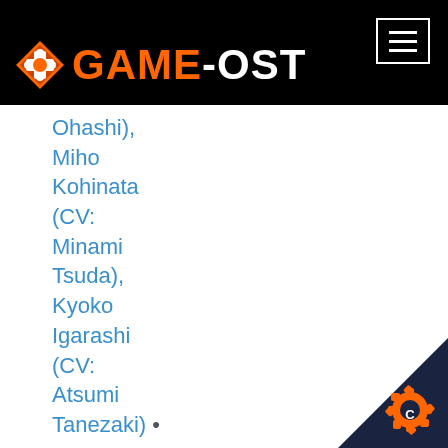GAME-OST
Ohashi), Miho Kohinata (CV: Minami Tsuda), Kyoko Igarashi (CV: Atsumi Tanezaki) • 2019 Digital